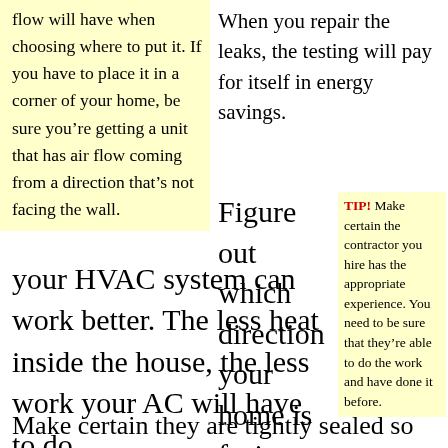flow will have when choosing where to put it. If you have to place it in a corner of your home, be sure you’re getting a unit that has air flow coming from a direction that’s not facing the wall.
When you repair the leaks, the testing will pay for itself in energy savings.
Figure out which direction your home is facing so
TIP! Make certain the contractor you hire has the appropriate experience. You need to be sure that they’re able to do the work and have done it before.
your HVAC system can work better. The less heat inside the house, the less work your AC will have to do.
Make certain they are tightly sealed so air